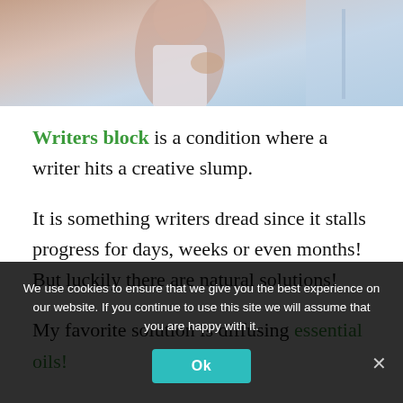[Figure (photo): Partial photo of a person sitting, cropped at top of page]
Writers block is a condition where a writer hits a creative slump.
It is something writers dread since it stalls progress for days, weeks or even months! But luckily there are natural solutions!
My favorite solution is diffusing essential oils!
We use cookies to ensure that we give you the best experience on our website. If you continue to use this site we will assume that you are happy with it.